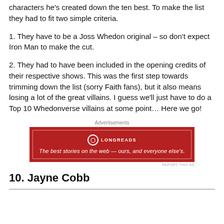characters he's created down the ten best. To make the list they had to fit two simple criteria.
1. They have to be a Joss Whedon original – so don't expect Iron Man to make the cut.
2. They had to have been included in the opening credits of their respective shows. This was the first step towards trimming down the list (sorry Faith fans), but it also means losing a lot of the great villains. I guess we'll just have to do a Top 10 Whedonverse villains at some point… Here we go!
[Figure (other): Longreads advertisement banner: red background with Longreads logo and tagline 'The best stories on the web — ours, and everyone else's.']
10. Jayne Cobb